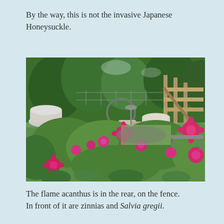By the way, this is not the invasive Japanese Honeysuckle.
[Figure (photo): A garden scene with lush green plants and bright pink zinnia flowers in the foreground, various potted plants and garden ornaments in the middle ground, and trees, wire fencing, and a wooden fence/gate in the background.]
The flame acanthus is in the rear, on the fence. In front of it are zinnias and Salvia gregii.